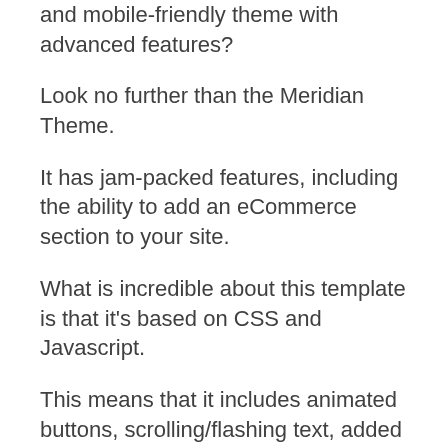and mobile-friendly theme with advanced features?
Look no further than the Meridian Theme.
It has jam-packed features, including the ability to add an eCommerce section to your site.
What is incredible about this template is that it's based on CSS and Javascript.
This means that it includes animated buttons, scrolling/flashing text, added clarity, and a cleaner and sleeker look.
Using this template reminds me of a website that has been built by a professional company.